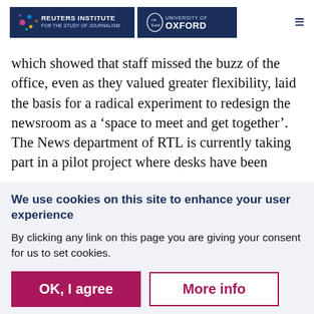Reuters Institute for the Study of Journalism | University of Oxford
which showed that staff missed the buzz of the office, even as they valued greater flexibility, laid the basis for a radical experiment to redesign the newsroom as a ‘space to meet and get together’. The News department of RTL is currently taking part in a pilot project where desks have been
We use cookies on this site to enhance your user experience
By clicking any link on this page you are giving your consent for us to set cookies.
OK, I agree
More info